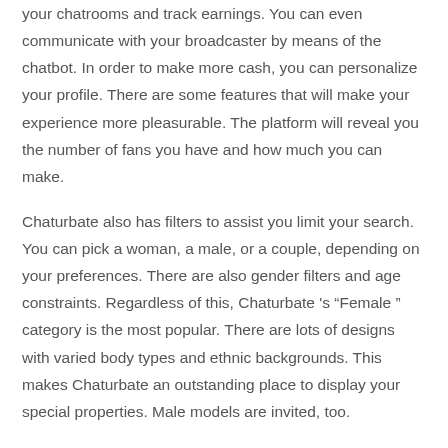your chatrooms and track earnings. You can even communicate with your broadcaster by means of the chatbot. In order to make more cash, you can personalize your profile. There are some features that will make your experience more pleasurable. The platform will reveal you the number of fans you have and how much you can make.
Chaturbate also has filters to assist you limit your search. You can pick a woman, a male, or a couple, depending on your preferences. There are also gender filters and age constraints. Regardless of this, Chaturbate 's “Female ” category is the most popular. There are lots of designs with varied body types and ethnic backgrounds. This makes Chaturbate an outstanding place to display your special properties. Male models are invited, too.
Chaturbate Cost
The expense of chaturbate varies depending on how lots of tokens